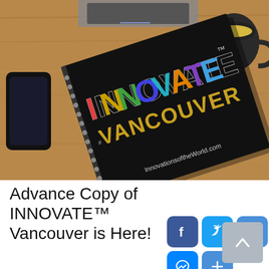[Figure (photo): A black spiral-bound book titled INNOVATE VANCOUVER with colorful photographic letters on the cover, lying on a wooden desk next to a laptop, smartphone, and dark coffee mug with a yellow/cream colored drink. The book cover also shows the URL InnovationsoftheWorld.com]
Advance Copy of INNOVATE™ Vancouver is Here!
[Figure (infographic): Social sharing buttons: Facebook (blue), Twitter (blue), Email (blue), LinkedIn (blue), WhatsApp (green), Messenger (blue), Share/Add (blue). Plus a grey scroll-to-top button.]